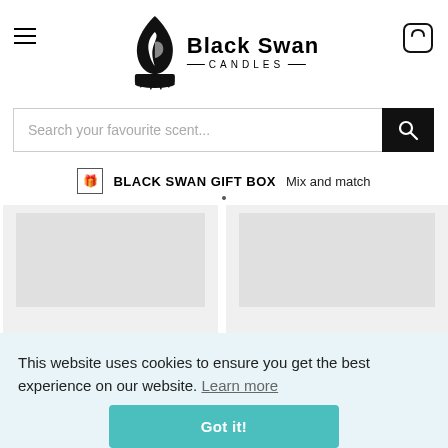[Figure (logo): Black Swan Candles logo — flame/swan icon on the left, bold 'Black Swan' text and 'CANDLES' subtitle on the right]
Search your favourite scent...
BLACK SWAN GIFT BOX  Mix and match
[Figure (photo): Product image placeholder (left) — grey rectangle]
[Figure (photo): Product image placeholder (right) — grey rectangle]
This website uses cookies to ensure you get the best experience on our website. Learn more
Got it!
Black Swan Candles - Neroli & Ylang Ylang Wax Melts
Black Swan Candles - Christmas Spice Wax Melts